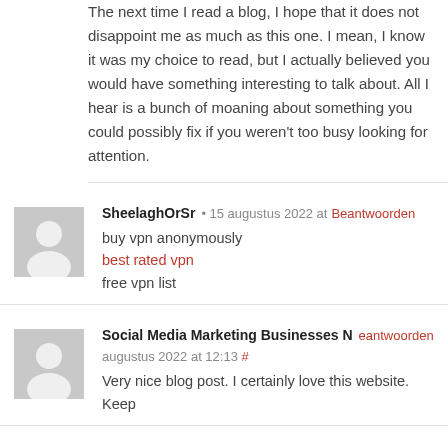The next time I read a blog, I hope that it does not disappoint me as much as this one. I mean, I know it was my choice to read, but I actually believed you would have something interesting to talk about. All I hear is a bunch of moaning about something you could possibly fix if you weren't too busy looking for attention.
SheelaghOrSr • 15 augustus 2022 at Beantwoorden
buy vpn anonymously
best rated vpn
free vpn list
Social Media Marketing Businesses Near Me Beantwoorden
augustraus 2022 at 12:13 #
Very nice blog post. I certainly love this website. Keep